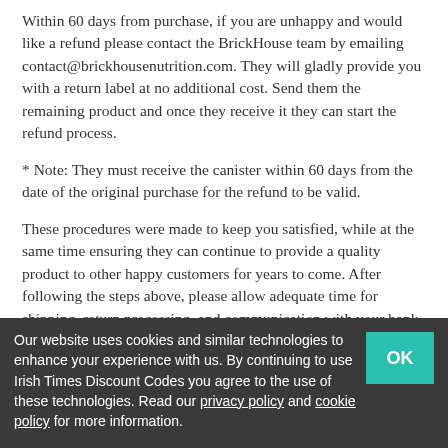Within 60 days from purchase, if you are unhappy and would like a refund please contact the BrickHouse team by emailing contact@brickhousenutrition.com. They will gladly provide you with a return label at no additional cost. Send them the remaining product and once they receive it they can start the refund process.
* Note: They must receive the canister within 60 days from the date of the original purchase for the refund to be valid.
These procedures were made to keep you satisfied, while at the same time ensuring they can continue to provide a quality product to other happy customers for years to come. After following the steps above, please allow adequate time for shipping, return processing, and communication with your bank. Most refunds will appear in your bank account within 3-5 business days
Our website uses cookies and similar technologies to enhance your experience with us. By continuing to use Irish Times Discount Codes you agree to the use of these technologies. Read our privacy policy and cookie policy for more information.